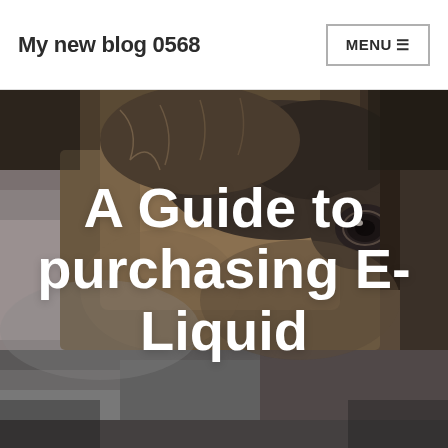My new blog 0568
[Figure (photo): Close-up photo of a dog's face, predominantly brown/grey fur with a visible eye, dark tones, serving as hero image background]
A Guide to purchasing E-Liquid